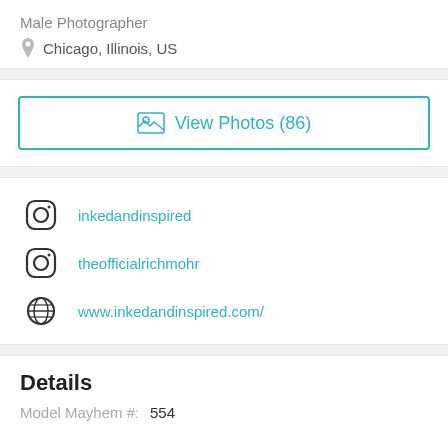Male Photographer
📍 Chicago, Illinois, US
🖼 View Photos (86)
inkedandinspired
theofficialrichmohr
www.inkedandinspired.com/
Details
Model Mayhem #:    554